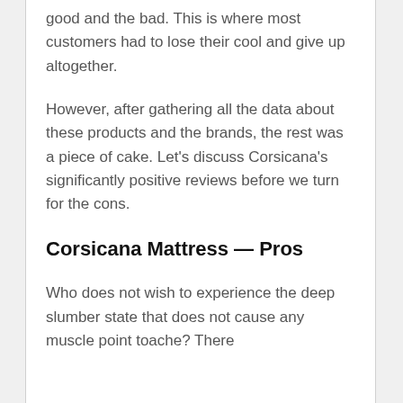good and the bad. This is where most customers had to lose their cool and give up altogether.
However, after gathering all the data about these products and the brands, the rest was a piece of cake. Let's discuss Corsicana's significantly positive reviews before we turn for the cons.
Corsicana Mattress — Pros
Who does not wish to experience the deep slumber state that does not cause any muscle point toache? There